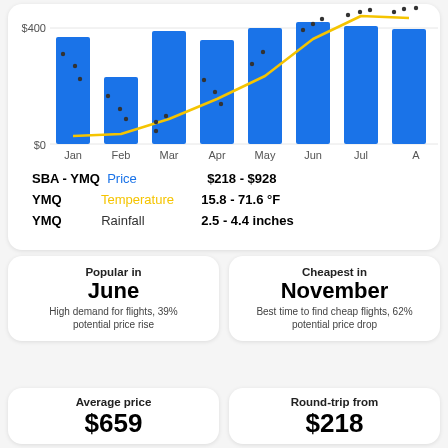[Figure (grouped-bar-chart): SBA to YMQ flight prices and temperature by month]
SBA - YMQ  Price  $218 - $928
YMQ  Temperature  15.8 - 71.6 °F
YMQ  Rainfall  2.5 - 4.4 inches
Popular in
June
High demand for flights, 39% potential price rise
Cheapest in
November
Best time to find cheap flights, 62% potential price drop
Average price
$659
Round-trip from
$218